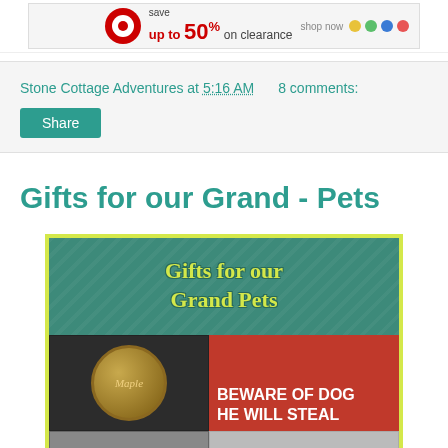[Figure (illustration): Target advertisement banner showing 'save up to 50% on clearance shop now' with colorful dots and Target logo]
Stone Cottage Adventures at 5:16 AM     8 comments:
Share
Gifts for our Grand - Pets
[Figure (photo): Collage image titled 'Gifts for our Grand Pets' on teal leaf background with teal/gold font, plus a gold medallion pet tag, a red mug/cup with 'BEWARE OF DOG HE WILL STEAL' text]